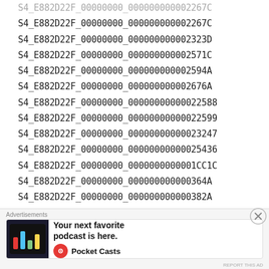S4_E882D22F_00000000_000000000002267C
S4_E882D22F_00000000_000000000002323D
S4_E882D22F_00000000_000000000002571C
S4_E882D22F_00000000_000000000002594A
S4_E882D22F_00000000_000000000002676A
S4_E882D22F_00000000_00000000000022588
S4_E882D22F_00000000_00000000000022599
S4_E882D22F_00000000_00000000000023247
S4_E882D22F_00000000_00000000000025436
S4_E882D22F_00000000_0000000000001CC1C
S4_E882D22F_00000000_000000000000364A
S4_E882D22F_00000000_000000000000382A
S4_E882D22F_00000000_000000000000003329
S4_E882D22F_00000002_000000000000196C8
Advertisements
[Figure (other): Pocket Casts advertisement banner showing a podcast app screenshot with the text 'Your next favorite podcast is here.' and the Pocket Casts logo]